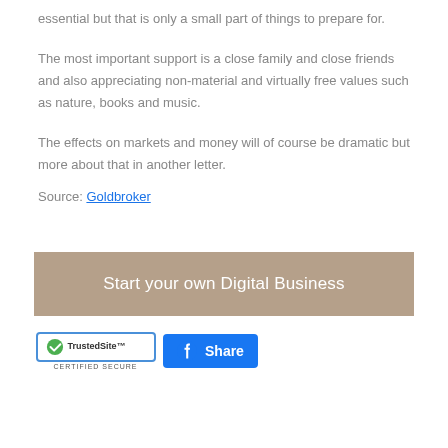essential but that is only a small part of things to prepare for.
The most important support is a close family and close friends and also appreciating non-material and virtually free values such as nature, books and music.
The effects on markets and money will of course be dramatic but more about that in another letter.
Source: Goldbroker
[Figure (other): Call-to-action banner with tan/khaki background reading 'Start your own Digital Business' in white text]
[Figure (other): TrustedSite CERTIFIED SECURE badge and Facebook Share button]